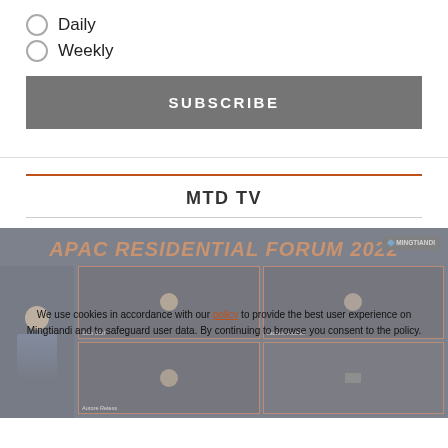Daily
Weekly
SUBSCRIBE
MTD TV
[Figure (screenshot): Screenshot of APAC Residential Forum 2022 video with Mingtiandi logo, showing a host and video conference grid with participants Sam Brof, Laurent Fischler, and others. A cookie consent overlay text reads: We use cookies in accordance with our policy to provide the best user experience on Mingtiandi and to safeguard user data. By continuing to browse you consent to the policy.]
We use cookies in accordance with our policy to provide the best user experience on Mingtiandi and to safeguard user data. By continuing to browse you consent to the policy.